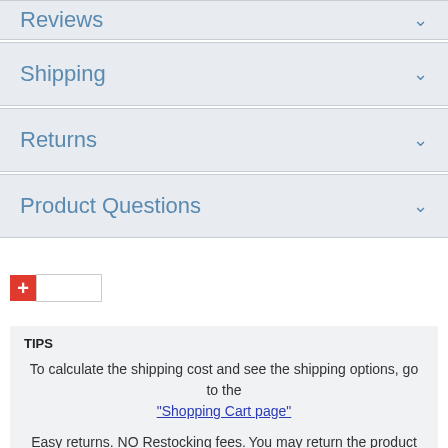Reviews
Shipping
Returns
Product Questions
TIPS
To calculate the shipping cost and see the shipping options, go to the "Shopping Cart page"
Easy returns. NO Restocking fees. You may return the product for exchange or refund within 30 days of delivery.